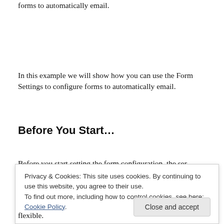forms to automatically email.
In this example we will show how you can use the Form Settings to configure forms to automatically email.
Before You Start…
Before you start setting the form configuration, the ser…
Privacy & Cookies: This site uses cookies. By continuing to use this website, you agree to their use.
To find out more, including how to control cookies, see here: Cookie Policy
flexible.